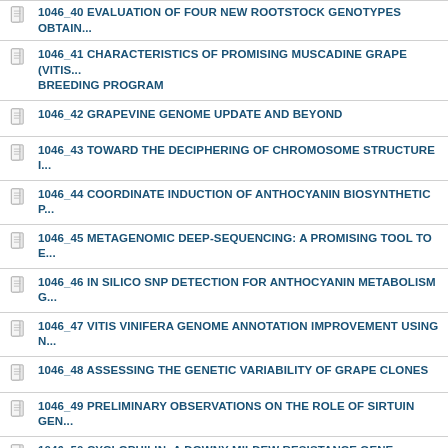1046_40 EVALUATION OF FOUR NEW ROOTSTOCK GENOTYPES OBTAIN...
1046_41 CHARACTERISTICS OF PROMISING MUSCADINE GRAPE (VITIS... BREEDING PROGRAM
1046_42 GRAPEVINE GENOME UPDATE AND BEYOND
1046_43 TOWARD THE DECIPHERING OF CHROMOSOME STRUCTURE I...
1046_44 COORDINATE INDUCTION OF ANTHOCYANIN BIOSYNTHETIC P...
1046_45 METAGENOMIC DEEP-SEQUENCING: A PROMISING TOOL TO E...
1046_46 IN SILICO SNP DETECTION FOR ANTHOCYANIN METABOLISM G...
1046_47 VITIS VINIFERA GENOME ANNOTATION IMPROVEMENT USING N...
1046_48 ASSESSING THE GENETIC VARIABILITY OF GRAPE CLONES
1046_49 PRELIMINARY OBSERVATIONS ON THE ROLE OF SIRTUIN GEN...
1046_50 CYCLOPHILIN: A DOWNY MILDEW RESISTANCE GENE CANDID...